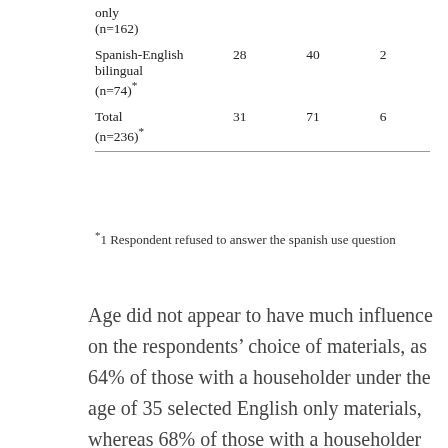|  |  |  |  |
| --- | --- | --- | --- |
| only (n=162) |  |  |  |
| Spanish-English bilingual (n=74)* | 28 | 40 | 2 |
| Total (n=236)* | 31 | 71 | 6 |
*1 Respondent refused to answer the spanish use question
Age did not appear to have much influence on the respondents’ choice of materials, as 64% of those with a householder under the age of 35 selected English only materials, whereas 68% of those with a householder age 35 to 49 and 71% of those with a